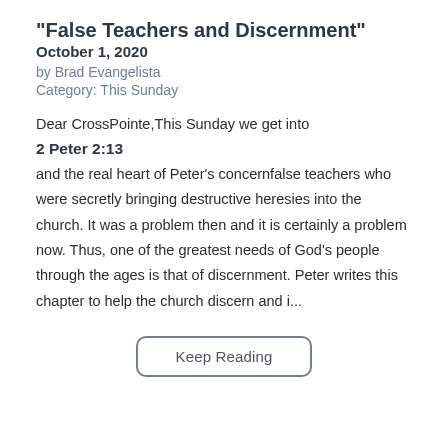“False Teachers and Discernment”
October 1, 2020
by Brad Evangelista
Category: This Sunday
Dear CrossPointe,This Sunday we get into
2 Peter 2:13
and the real heart of Peter's concernfalse teachers who were secretly bringing destructive heresies into the church. It was a problem then and it is certainly a problem now. Thus, one of the greatest needs of God's people through the ages is that of discernment. Peter writes this chapter to help the church discern and i...
Keep Reading